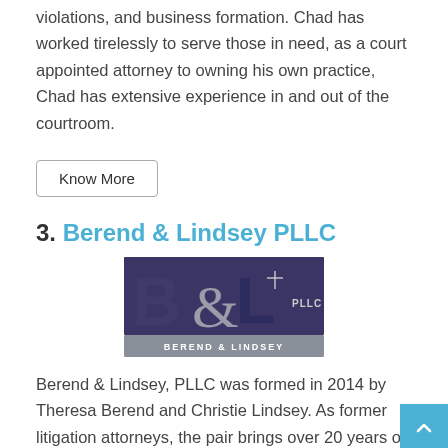violations, and business formation. Chad has worked tirelessly to serve those in need, as a court appointed attorney to owning his own practice, Chad has extensive experience in and out of the courtroom.
Know More
3. Berend & Lindsey PLLC
[Figure (logo): Berend & Lindsey PLLC logo with stylized B&L letters in dark blue/purple and gray, with 'BEREND & LINDSEY' text below on a gray bar, and 'PLLC' text to the right]
Berend & Lindsey, PLLC was formed in 2014 by Theresa Berend and Christie Lindsey. As former litigation attorneys, the pair brings over 20 years of combined legal experience to the